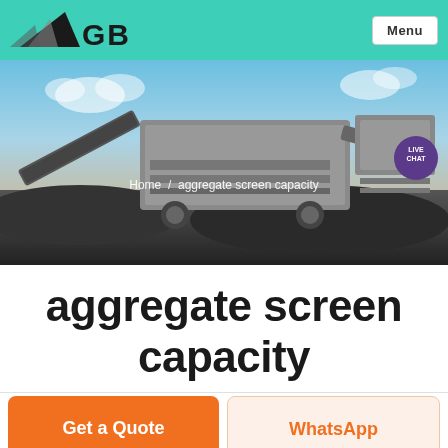GBM — Menu
[Figure (photo): Industrial aggregate screening and crushing machinery on a job site, with conveyor belts and large machinery against a blue sky background. Breadcrumb reads: Home / aggregate screen capacity]
aggregate screen capacity
Get a Quote
WhatsApp